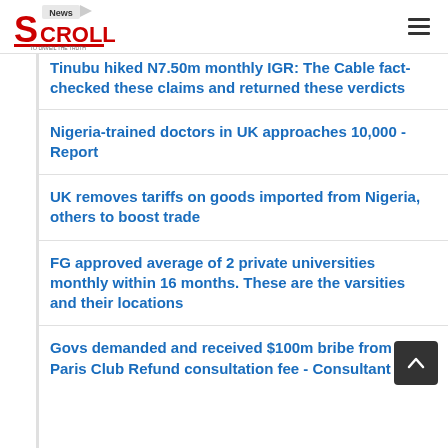News Scroll
Tinubu hiked N7.50m monthly IGR: The Cable fact-checked these claims and returned these verdicts
Nigeria-trained doctors in UK approaches 10,000 - Report
UK removes tariffs on goods imported from Nigeria, others to boost trade
FG approved average of 2 private universities monthly within 16 months. These are the varsities and their locations
Govs demanded and received $100m bribe from from Paris Club Refund consultation fee - Consultant